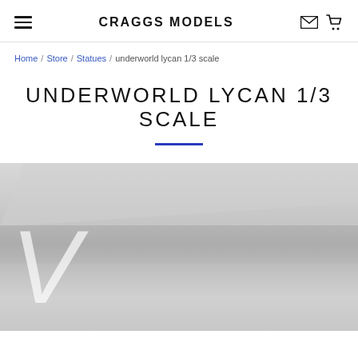CRAGGS MODELS
Home / Store / Statues / underworld lycan 1/3 scale
UNDERWORLD LYCAN 1/3 SCALE
[Figure (photo): Partial product image with large italic V letter watermark on a grey gradient background]